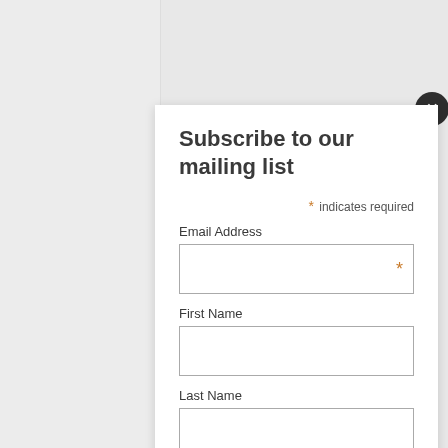[Figure (screenshot): Website mailing list subscription modal popup overlay on a webpage background showing 'Popular Tags' section with colored tag links (Culture, Fashion, Featured, Film & TV, etc.)]
Subscribe to our mailing list
* indicates required
Email Address
First Name
Last Name
Subscribe
Popular Tags
Culture
Fashion
Featured
Film & TV